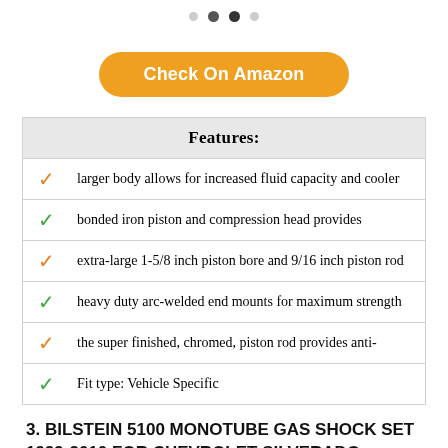[Figure (other): Image carousel navigation dots — light, dark, dark, light dots indicating current image in a product image slideshow]
Check On Amazon
|  | Features: |
| --- | --- |
| ✓ | larger body allows for increased fluid capacity and cooler |
| ✓ | bonded iron piston and compression head provides |
| ✓ | extra-large 1-5/8 inch piston bore and 9/16 inch piston rod |
| ✓ | heavy duty arc-welded end mounts for maximum strength |
| ✓ | the super finished, chromed, piston rod provides anti- |
| ✓ | Fit type: Vehicle Specific |
3. BILSTEIN 5100 MONOTUBE GAS SHOCK SET 1999-2010 FOR CHEVROLET SILVERADO 2500HD 4WD